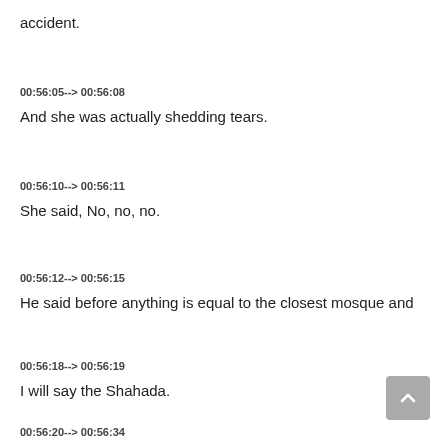accident.
00:56:05--> 00:56:08
And she was actually shedding tears.
00:56:10--> 00:56:11
She said, No, no, no.
00:56:12--> 00:56:15
He said before anything is equal to the closest mosque and
00:56:18--> 00:56:19
I will say the Shahada.
00:56:20--> 00:56:34